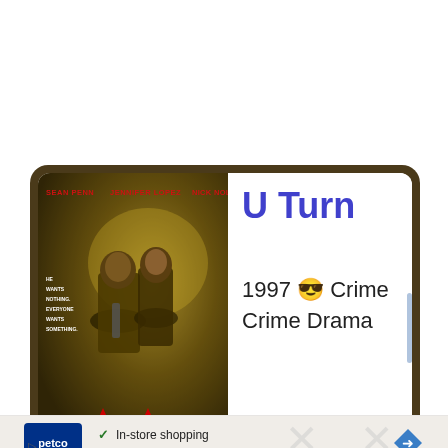[Figure (photo): Movie poster for 'U Turn' (1997) showing Sean Penn and Jennifer Lopez in a dark yellowish-olive toned image. Text at top reads 'SEAN PENN  JENNIFER LOPEZ  NICK NOLTE' in red. Two red arrows at the bottom of the poster.]
U Turn
1997 😎 Crime
Crime Drama
[Figure (screenshot): Partial advertisement for Petco showing logo, checkmarks for 'In-store shopping' and 'Curbside pickup', and a navigation arrow icon.]